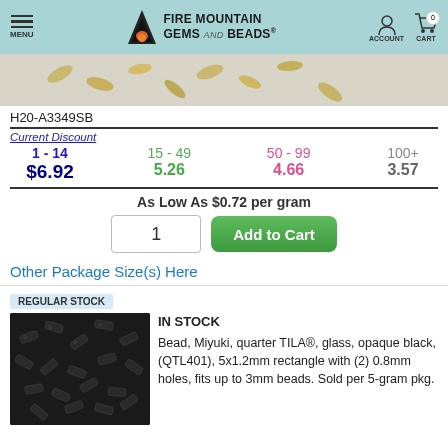MENU | FIRE MOUNTAIN GEMS and Beads | ACCOUNT | CART 0
[Figure (photo): Partial view of small gold-colored metal beads/clasps scattered]
H20-A3349SB
| Current Discount | 15 - 49 | 50 - 99 | 100+ |
| --- | --- | --- | --- |
| 1 - 14 | 15 - 49 | 50 - 99 | 100+ |
| $6.92 | 5.26 | 4.66 | 3.57 |
As Low As $0.72 per gram
Other Package Size(s) Here
REGULAR STOCK
[Figure (photo): Pile of small black rectangular Miyuki quarter TILA beads]
IN STOCK
Bead, Miyuki, quarter TILA®, glass, opaque black, (QTL401), 5x1.2mm rectangle with (2) 0.8mm holes, fits up to 3mm beads. Sold per 5-gram pkg.